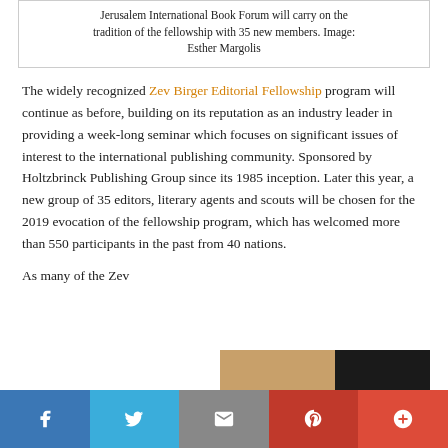Jerusalem International Book Forum will carry on the tradition of the fellowship with 35 new members. Image: Esther Margolis
The widely recognized Zev Birger Editorial Fellowship program will continue as before, building on its reputation as an industry leader in providing a week-long seminar which focuses on significant issues of interest to the international publishing community. Sponsored by Holtzbrinck Publishing Group since its 1985 inception. Later this year, a new group of 35 editors, literary agents and scouts will be chosen for the 2019 evocation of the fellowship program, which has welcomed more than 550 participants in the past from 40 nations.
As many of the Zev